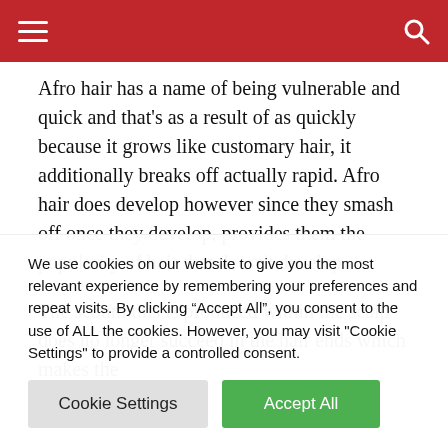Navigation bar with hamburger menu and search icon
Afro hair has a name of being vulnerable and quick and that’s as a result of as quickly because it grows like customary hair, it additionally breaks off actually rapid. Afro hair does develop however since they smash off once they develop, provides them the popularity of hair that doesn’t develop.
The sebum this is produced within the scalp does no longer succeed in the hair ends which makes the
We use cookies on our website to give you the most relevant experience by remembering your preferences and repeat visits. By clicking “Accept All”, you consent to the use of ALL the cookies. However, you may visit "Cookie Settings" to provide a controlled consent.